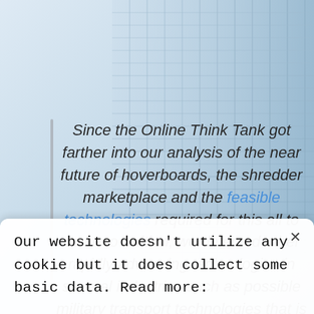[Figure (photo): Background photo of a glass office building facade with blue-grey tones and a gradient from light (top-left) to darker blue (right), with grid-like window patterns visible on the right side.]
Since the Online Think Tank got farther into our analysis of the near future of hoverboards, the shredder marketplace and the feasible technologies required for this all to come to fruition, we detected other rapidly advancing technologies in several industries such as possible military transport technologies that is accessible in 5-10 decades.
Our website doesn't utilize any cookie but it does collect some basic data. Read more: